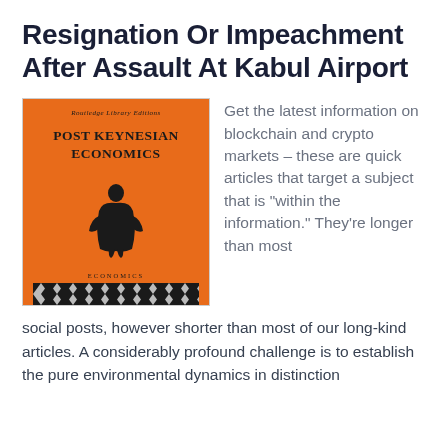Resignation Or Impeachment After Assault At Kabul Airport
[Figure (photo): Orange book cover with title 'POST KEYNESIAN ECONOMICS', Routledge Library Editions imprint, featuring a black ink illustration of a figure, with 'ECONOMICS' label at bottom and a black diamond-pattern border strip at the very bottom.]
Get the latest information on blockchain and crypto markets – these are quick articles that target a subject that is "within the information." They're longer than most social posts, however shorter than most of our long-kind articles. A considerably profound challenge is to establish the pure environmental dynamics in distinction